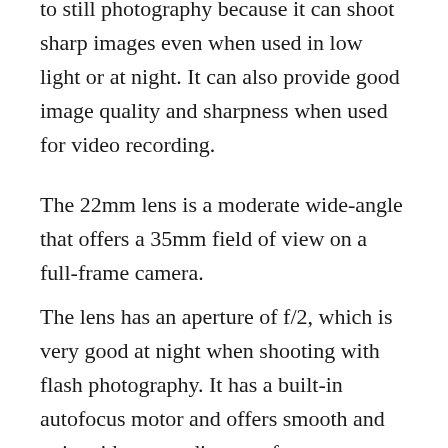to still photography because it can shoot sharp images even when used in low light or at night. It can also provide good image quality and sharpness when used for video recording.
The 22mm lens is a moderate wide-angle that offers a 35mm field of view on a full-frame camera.
The lens has an aperture of f/2, which is very good at night when shooting with flash photography. It has a built-in autofocus motor and offers smooth and quiet video recording autofocus.
There aren't any issues with focusing or video recording because Canon EF-M 22 mm f/2 STM...